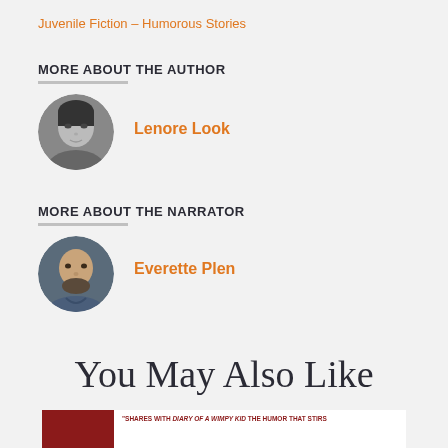Juvenile Fiction – Humorous Stories
MORE ABOUT THE AUTHOR
[Figure (photo): Black and white circular portrait photo of Lenore Look, an Asian woman]
Lenore Look
MORE ABOUT THE NARRATOR
[Figure (photo): Color circular portrait photo of Everette Plen, a bald man with a beard wearing a blue shirt]
Everette Plen
You May Also Like
[Figure (photo): Partial book cover with dark red/maroon left panel and white area with small text quoting Diary of a Wimpy Kid]